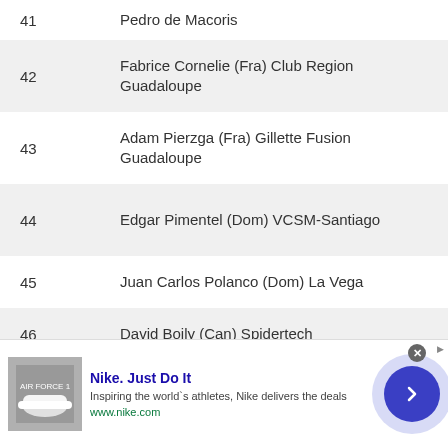| # | Name |
| --- | --- |
| 41 | Pedro de Macoris |
| 42 | Fabrice Cornelie (Fra) Club Region Guadaloupe |
| 43 | Adam Pierzga (Fra) Gillette Fusion Guadaloupe |
| 44 | Edgar Pimentel (Dom) VCSM-Santiago |
| 45 | Juan Carlos Polanco (Dom) La Vega |
| 46 | David Boily (Can) Spidertech |
| 47 | Mark Batty (Can) Spidertech |
| 48 | Jorge Velez (PuR) RG Cycling-Puerto Rico |
[Figure (other): Nike advertisement banner: Nike. Just Do It. Inspiring the world's athletes, Nike delivers the deals. www.nike.com. Shows Nike Air Force 1 shoe image and a blue chevron arrow button.]